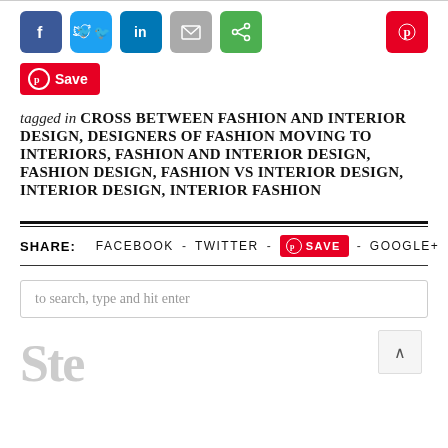[Figure (other): Social share buttons: Facebook (blue), Twitter (light blue), LinkedIn (dark blue), Email (grey), Share (green), and Pinterest (red) icon buttons in a row]
[Figure (other): Pinterest Save button in red with Pinterest logo icon and text 'Save']
tagged in  CROSS BETWEEN FASHION AND INTERIOR DESIGN, DESIGNERS OF FASHION MOVING TO INTERIORS, FASHION AND INTERIOR DESIGN, FASHION DESIGN, FASHION VS INTERIOR DESIGN, INTERIOR DESIGN, INTERIOR FASHION
SHARE:   FACEBOOK  -  TWITTER  -  SAVE  -  GOOGLE+
to search, type and hit enter